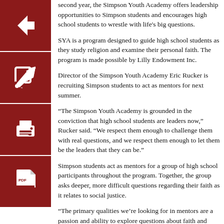[Figure (infographic): Four red square icon buttons stacked vertically on the left side: back arrow, edit/pencil, print, and PDF document icons.]
second year, the Simpson Youth Academy offers leadership opportunities to Simpson students and encourages high school students to wrestle with life's big questions.
SYA is a program designed to guide high school students as they study religion and examine their personal faith. The program is made possible by Lilly Endowment Inc.
Director of the Simpson Youth Academy Eric Rucker is recruiting Simpson students to act as mentors for next summer.
“The Simpson Youth Academy is grounded in the conviction that high school students are leaders now,” Rucker said. “We respect them enough to challenge them with real questions, and we respect them enough to let them be the leaders that they can be.”
Simpson students act as mentors for a group of high school participants throughout the program. Together, the group asks deeper, more difficult questions regarding their faith as it relates to social justice.
“The primary qualities we’re looking for in mentors are a passion and ability to explore questions about faith and social justice with youth,” Rucker said. “There’s this tendency in our culture to disrespect high school students by treating them like children who don’t have the ability to wrestle with real questions.”